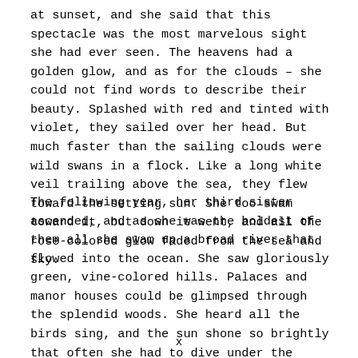at sunset, and she said that this spectacle was the most marvelous sight she had ever seen. The heavens had a golden glow, and as for the clouds – she could not find words to describe their beauty. Splashed with red and tinted with violet, they sailed over her head. But much faster than the sailing clouds were wild swans in a flock. Like a long white veil trailing above the sea, they flew toward the setting sun. She too swam toward it, but down it went, and all the rose-colored glow faded from the sea and sky.
The following year, her third sister ascended, and as she was the boldest of them all she swam up a broad river that flowed into the ocean. She saw gloriously green, vine-colored hills. Palaces and manor houses could be glimpsed through the splendid woods. She heard all the birds sing, and the sun shone so brightly that often she had to dive under the water to cool her burning face. In a small cove she found a whole school of mortal children, paddling about in the water quite naked. She
x